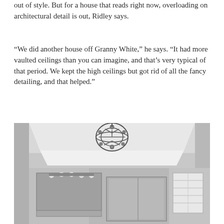out of style. But for a house that reads right now, overloading on architectural detail is out, Ridley says.
“We did another house off Granny White,” he says. “It had more vaulted ceilings than you can imagine, and that’s very typical of that period. We kept the high ceilings but got rid of all the fancy detailing, and that helped.”
[Figure (photo): Black and white interior photo of a bathroom with a tray ceiling, an ornate spherical chandelier hanging from the ceiling, large mirror with vanity lights, glass shower enclosure, and window with shutters on the right.]